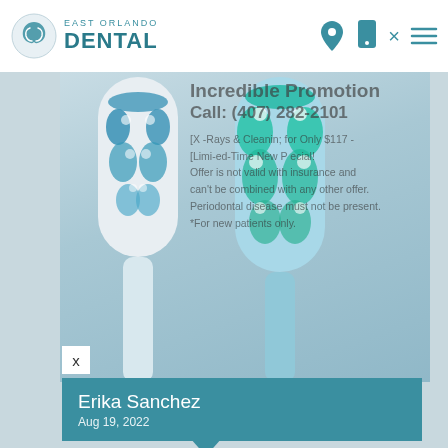[Figure (logo): East Orlando Dental logo with teal swirl icon]
[Figure (photo): Toothbrush heads photo with promotional overlay text showing 'Incredible Promotion Call: (407) 282-2101' and details about X-Rays & Cleaning for Only $117, limited time new patient special]
x
Erika Sanchez
Aug 19, 2022
5.0 ★★★★★
Name*
Dr. Karim Morales Su Gran Equipo de Trabajo son Los Mejores los Recomiendo. Te Explica y te dan las mejores opciones a tratar ◆... more
replaced your
rowing out
nts or
replaced quite
attention in